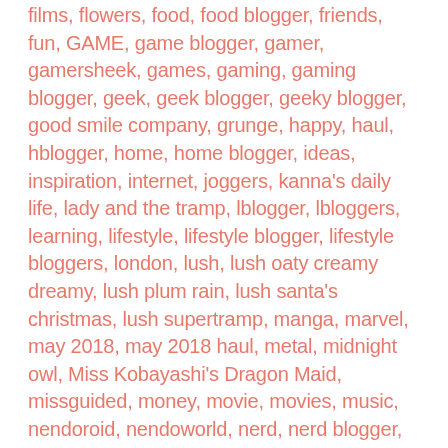films, flowers, food, food blogger, friends, fun, GAME, game blogger, gamer, gamersheek, games, gaming, gaming blogger, geek, geek blogger, geeky blogger, good smile company, grunge, happy, haul, hblogger, home, home blogger, ideas, inspiration, internet, joggers, kanna's daily life, lady and the tramp, lblogger, lbloggers, learning, lifestyle, lifestyle blogger, lifestyle bloggers, london, lush, lush oaty creamy dreamy, lush plum rain, lush santa's christmas, lush supertramp, manga, marvel, may 2018, may 2018 haul, metal, midnight owl, Miss Kobayashi's Dragon Maid, missguided, money, movie, movies, music, nendoroid, nendoworld, nerd, nerd blogger, nerdy blogger, netflix, novel, oat milk shower cream, oaty creamy dreamy, office, ohayou, ohayou clothing, personal, photography, playstation, plum rain shower gel, post, primark, primark spider-man, reading, rock, santa's christmas, shopping, shower cream, skater dress, snot girl, snot girl volume 2, soundtrack, spider man, supertramp